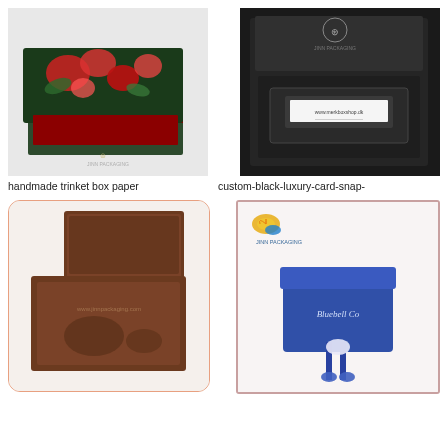[Figure (photo): Handmade trinket box with floral printed lid in reds and greens, open showing red velvet interior lining, with a shell logo on the base.]
[Figure (photo): Open custom black luxury card snap box with a card slot insert visible inside, dark matte finish with shell logo on lid interior.]
handmade trinket box paper
custom-black-luxury-card-snap-
[Figure (photo): Open brown magnetic gift box with foam insert cutout, showing www.jinnpackaging.com watermark, rounded border frame.]
[Figure (photo): Blue ribbon pull drawer gift box with Bluebell Co text, with JINN PACKAGING logo and shell logo in top left, pink border frame.]